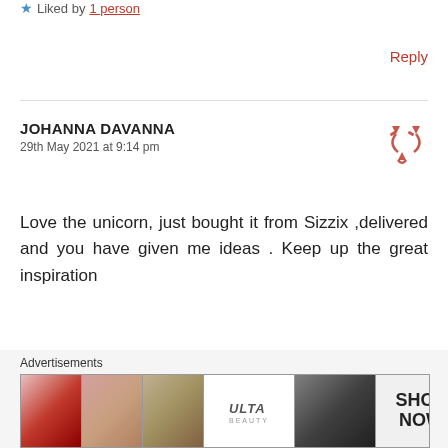★ Liked by 1 person
Reply
JOHANNA DAVANNA
29th May 2021 at 9:14 pm
Love the unicorn, just bought it from Sizzix ,delivered and you have given me ideas . Keep up the great inspiration
★ Liked by 1 person
Reply
Advertisements
[Figure (photo): Advertisement banner for ULTA beauty with cosmetic images and SHOP NOW text]